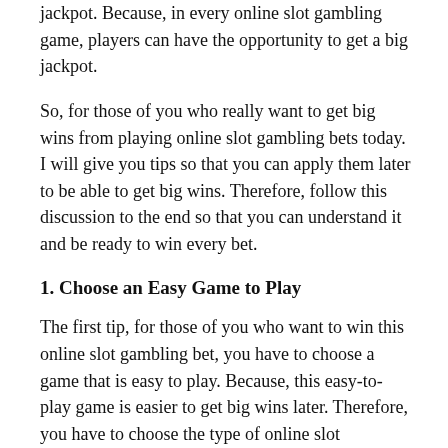jackpot. Because, in every online slot gambling game, players can have the opportunity to get a big jackpot.
So, for those of you who really want to get big wins from playing online slot gambling bets today. I will give you tips so that you can apply them later to be able to get big wins. Therefore, follow this discussion to the end so that you can understand it and be ready to win every bet.
1. Choose an Easy Game to Play
The first tip, for those of you who want to win this online slot gambling bet, you have to choose a game that is easy to play. Because, this easy-to-play game is easier to get big wins later. Therefore, you have to choose the type of online slot gambling game that is very easy for you to play.